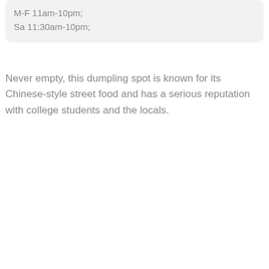M-F 11am-10pm;
Sa 11:30am-10pm;
Never empty, this dumpling spot is known for its Chinese-style street food and has a serious reputation with college students and the locals.